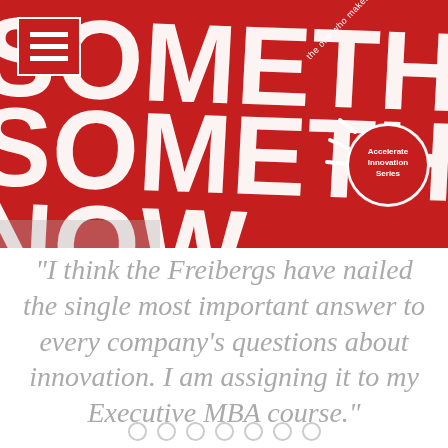[Figure (photo): Close-up photo of a red book cover with large white text reading 'SOMETHING NOW', with a diagonal tagline 'the one who makes something happen', an 'Accelerate Innovation Series' badge, and a hamburger menu icon in the top-left corner.]
"I think the Freibergs have nailed the single most important answer to every company's questions about innovation. I am assigning it to my Executive MBA course."